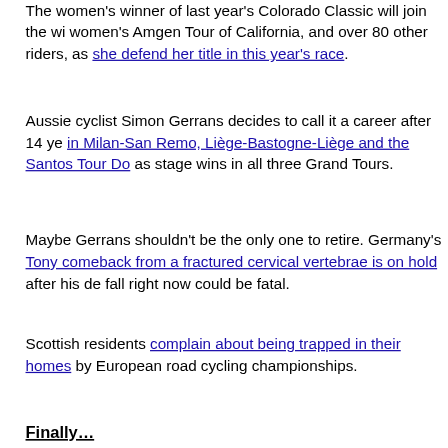The women's winner of last year's Colorado Classic will join the wi… women's Amgen Tour of California, and over 80 other riders, as she… defend her title in this year's race.
Aussie cyclist Simon Gerrans decides to call it a career after 14 ye… in Milan-San Remo, Liège-Bastogne-Liège and the Santos Tour Do… as stage wins in all three Grand Tours.
Maybe Gerrans shouldn't be the only one to retire. Germany's Tony… comeback from a fractured cervical vertebrae is on hold after his de… fall right now could be fatal.
Scottish residents complain about being trapped in their homes by… European road cycling championships.
Finally…
Who says you need a truck to move your belongings to a new hom… you want, a fanny pack by any other name is still a fanny pack.
And this is not the proper way to carry a bike on your car.